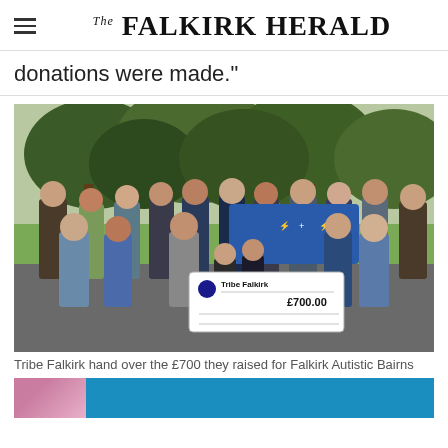The Falkirk Herald
donations were made."
[Figure (photo): Group photo of Tribe Falkirk members and Falkirk Autistic Bairns recipients holding a large cheque for £700 and a blue banner, outdoors with trees in background]
Tribe Falkirk hand over the £700 they raised for Falkirk Autistic Bairns
[Figure (photo): Partial view of another photo at the bottom of the page, showing a pink/purple object on the left and a blue background on the right]